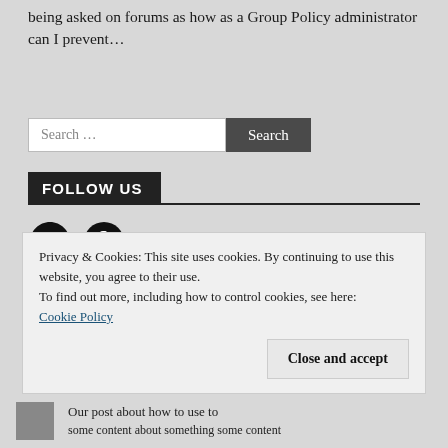being asked on forums as how as a Group Policy administrator can I prevent…
Search …
FOLLOW US
[Figure (illustration): Twitter bird icon (black)]
[Figure (illustration): Facebook circle icon (black)]
Privacy & Cookies: This site uses cookies. By continuing to use this website, you agree to their use.
To find out more, including how to control cookies, see here:
Cookie Policy
Close and accept
Our post about how to use to